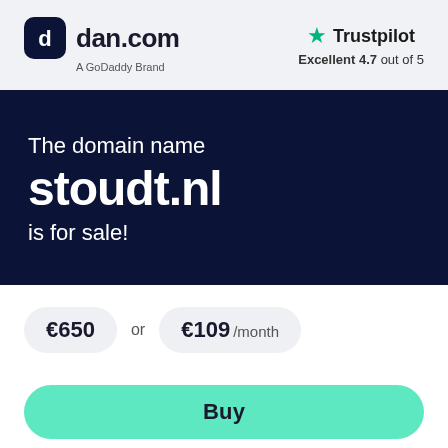[Figure (logo): dan.com logo with rounded square icon and text 'dan.com', subtitle 'A GoDaddy Brand']
[Figure (logo): Trustpilot logo with green star, text 'Trustpilot', rating 'Excellent 4.7 out of 5']
The domain name stoudt.nl is for sale!
€650 or €109 /month
Buy